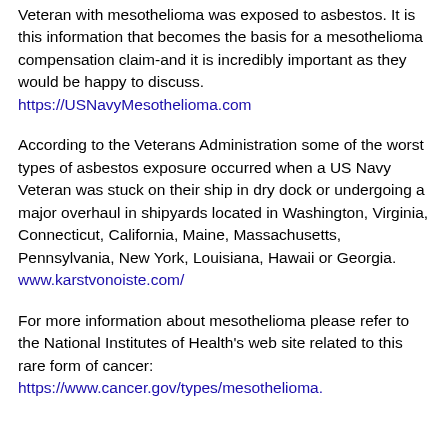Veteran with mesothelioma was exposed to asbestos. It is this information that becomes the basis for a mesothelioma compensation claim-and it is incredibly important as they would be happy to discuss. https://USNavyMesothelioma.com
According to the Veterans Administration some of the worst types of asbestos exposure occurred when a US Navy Veteran was stuck on their ship in dry dock or undergoing a major overhaul in shipyards located in Washington, Virginia, Connecticut, California, Maine, Massachusetts, Pennsylvania, New York, Louisiana, Hawaii or Georgia. www.karstvonoiste.com/
For more information about mesothelioma please refer to the National Institutes of Health's web site related to this rare form of cancer: https://www.cancer.gov/types/mesothelioma.